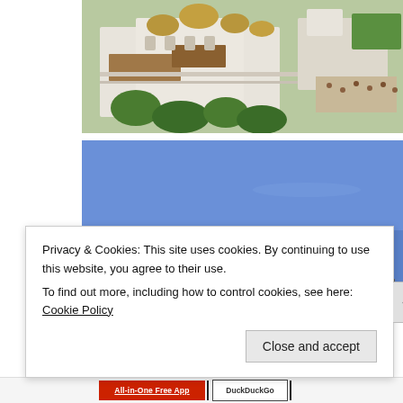[Figure (photo): Aerial view of a white Orthodox church complex with golden and green domed roofs, surrounded by trees and people in a courtyard. Photographed from above on a sunny day.]
[Figure (photo): Golden onion domes of an Orthodox cathedral against a bright blue sky, photographed from below at an angle.]
Privacy & Cookies: This site uses cookies. By continuing to use this website, you agree to their use.
To find out more, including how to control cookies, see here: Cookie Policy
Close and accept